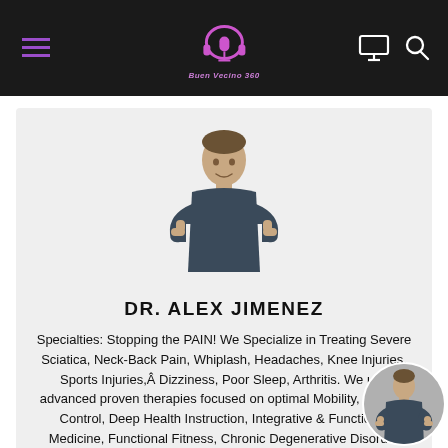Buen Vecino 360 — navigation header with logo, hamburger menu, monitor and search icons
[Figure (photo): Dr. Alex Jimenez in dark scrubs giving two thumbs up, photo with transparent/removed background on grey card]
DR. ALEX JIMENEZ
Specialties: Stopping the PAIN! We Specialize in Treating Severe Sciatica, Neck-Back Pain, Whiplash, Headaches, Knee Injuries, Sports Injuries, Dizziness, Poor Sleep, Arthritis. We use advanced proven therapies focused on optimal Mobility, Posture Control, Deep Health Instruction, Integrative & Functional Medicine, Functional Fitness, Chronic Degenerative Disorder Treatment Protocols, Structural Conditioning. We also integrate Wellness Nutrition, Wellness Detoxification Protocols, and Functional
[Figure (photo): Small circular thumbnail of Dr. Alex Jimenez giving thumbs up, positioned bottom-right corner]